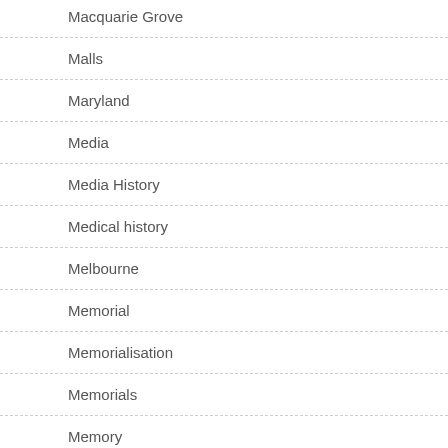Macquarie Grove
Malls
Maryland
Media
Media History
Medical history
Melbourne
Memorial
Memorialisation
Memorials
Memory